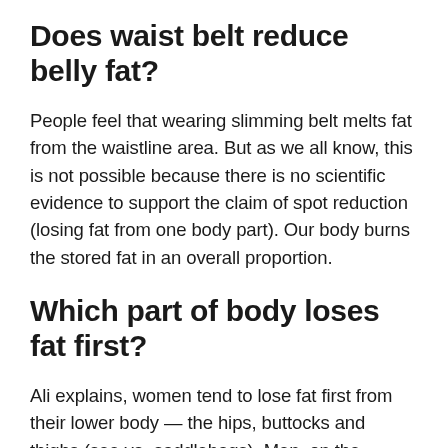Does waist belt reduce belly fat?
People feel that wearing slimming belt melts fat from the waistline area. But as we all know, this is not possible because there is no scientific evidence to support the claim of spot reduction (losing fat from one body part). Our body burns the stored fat in an overall proportion.
Which part of body loses fat first?
Ali explains, women tend to lose fat first from their lower body — the hips, buttocks and thighs (see ya, saddlebags). Men, on the